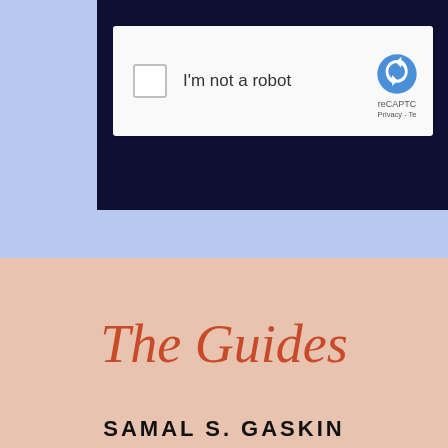[Figure (screenshot): A reCAPTCHA widget showing a checkbox with 'I'm not a robot' text and the reCAPTCHA logo, displayed over a dark navy background panel, with a light blue background behind it.]
The Guides
SAMAL S. GASKIN